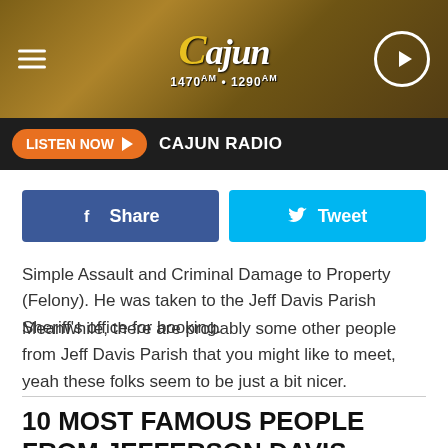[Figure (logo): Cajun Radio logo with 1470am and 1290am frequencies, on a golden-brown textured background with hamburger menu icon and play button]
LISTEN NOW  CAJUN RADIO
[Figure (infographic): Facebook Share button (blue) and Twitter Tweet button (cyan)]
Simple Assault and Criminal Damage to Property (Felony). He was taken to the Jeff Davis Parish Sheriff's office for booking.
Meanwhile, there are probably some other people from Jeff Davis Parish that you might like to meet, yeah these folks seem to be just a bit nicer.
10 MOST FAMOUS PEOPLE FROM JEFFERSON DAVIS PARISH